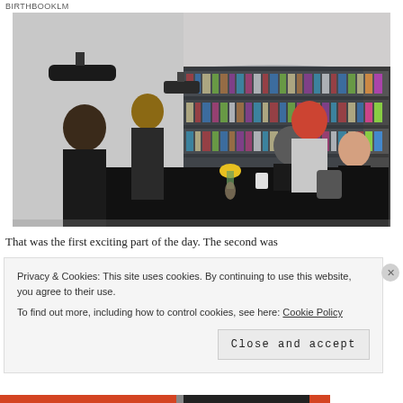BIRTHBOOKLM
[Figure (photo): Book signing event in a bookstore. Several people standing around a table draped in black cloth. A person seated behind the table with yellow flowers in a vase. Bookshelves visible in the background.]
That was the first exciting part of the day. The second was
Privacy & Cookies: This site uses cookies. By continuing to use this website, you agree to their use.
To find out more, including how to control cookies, see here: Cookie Policy
Close and accept